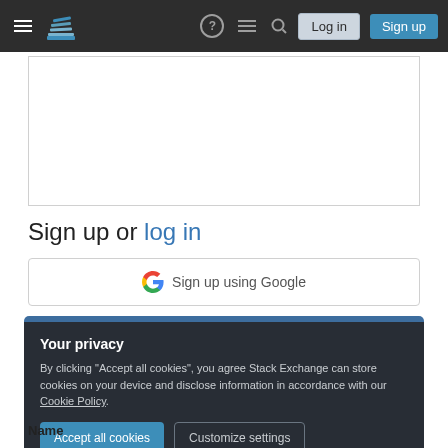Stack Exchange navigation bar with Log in and Sign up buttons
Sign up or log in
[Figure (other): Sign up using Google button with Google G logo]
Your privacy
By clicking "Accept all cookies", you agree Stack Exchange can store cookies on your device and disclose information in accordance with our Cookie Policy.
Accept all cookies   Customize settings
Name